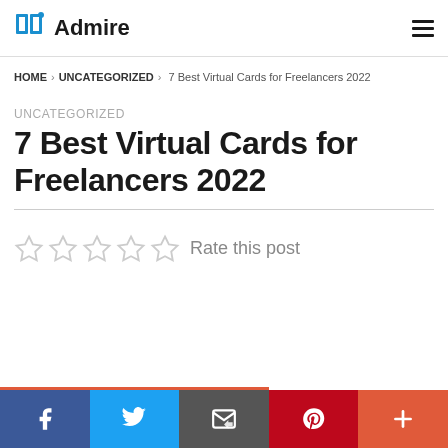Admire [logo]
HOME > UNCATEGORIZED > 7 Best Virtual Cards for Freelancers 2022
UNCATEGORIZED
7 Best Virtual Cards for Freelancers 2022
Rate this post
Social share buttons: Facebook, Twitter, Email, Pinterest, More